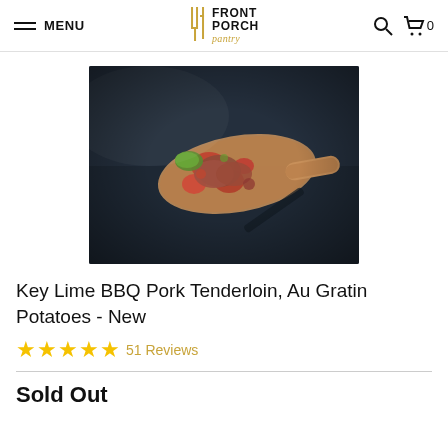MENU | FRONT PORCH pantry | Search | Cart 0
[Figure (photo): Photo of Key Lime BBQ Pork Tenderloin on a wooden serving board against a dark slate background, shot from above]
Key Lime BBQ Pork Tenderloin, Au Gratin Potatoes - New
★★★★★ 51 Reviews
Sold Out